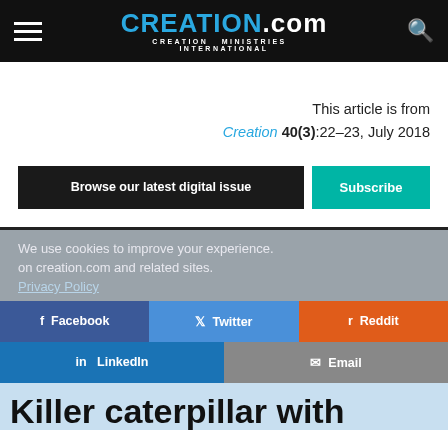CREATION.com — CREATION MINISTRIES INTERNATIONAL
This article is from Creation 40(3):22–23, July 2018
Browse our latest digital issue | Subscribe
We use cookies to improve your experience. on creation.com and related sites. Privacy Policy
Facebook | Twitter | Reddit | LinkedIn | Email
Killer caterpillar with